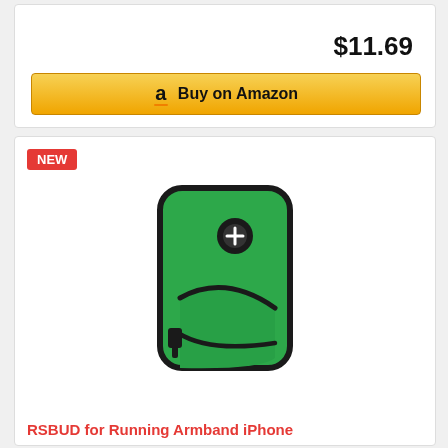$11.69
[Figure (other): Buy on Amazon button with Amazon logo 'a']
NEW
[Figure (photo): Green running armband phone holder with black zipper and earphone hole, shown as standalone product photo on white background]
RSBUD for Running Armband iPhone